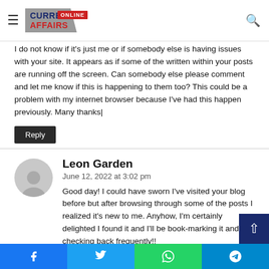Current Affairs Online
I do not know if it's just me or if somebody else is having issues with your site. It appears as if some of the written within your posts are running off the screen. Can somebody else please comment and let me know if this is happening to them too? This could be a problem with my internet browser because I've had this happen previously. Many thanks|
Reply
Leon Garden
June 12, 2022 at 3:02 pm
Good day! I could have sworn I've visited your blog before but after browsing through some of the posts I realized it's new to me. Anyhow, I'm certainly delighted I found it and I'll be book-marking it and checking back frequently!!